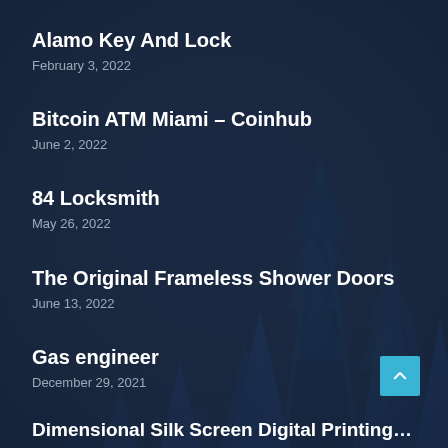Alamo Key And Lock
February 3, 2022
Bitcoin ATM Miami – Coinhub
June 2, 2022
84 Locksmith
May 26, 2022
The Original Frameless Shower Doors
June 13, 2022
Gas engineer
December 29, 2021
[Figure (illustration): Dark navy blue background with silhouettes of pine/fir trees in the lower half and right side of the image, creating a forest scene.]
Dimensional Silk Screen Digital Printing…